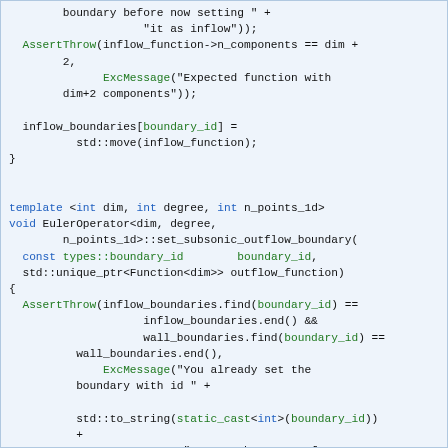[Figure (screenshot): C++ source code snippet showing EulerOperator template functions for setting subsonic outflow boundary conditions, with syntax highlighting (blue keywords, green identifiers/strings, black default text) on a light blue background.]